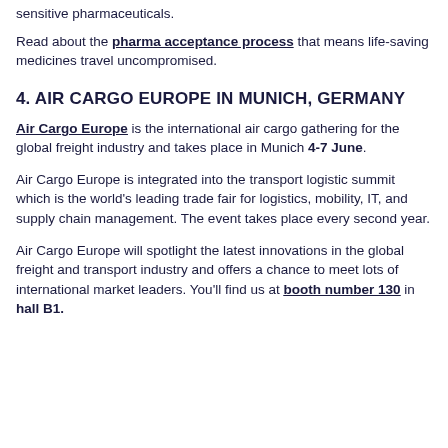sensitive pharmaceuticals.
Read about the pharma acceptance process that means life-saving medicines travel uncompromised.
4. AIR CARGO EUROPE IN MUNICH, GERMANY
Air Cargo Europe is the international air cargo gathering for the global freight industry and takes place in Munich 4-7 June.
Air Cargo Europe is integrated into the transport logistic summit which is the world's leading trade fair for logistics, mobility, IT, and supply chain management. The event takes place every second year.
Air Cargo Europe will spotlight the latest innovations in the global freight and transport industry and offers a chance to meet lots of international market leaders. You'll find us at booth number 130 in hall B1.